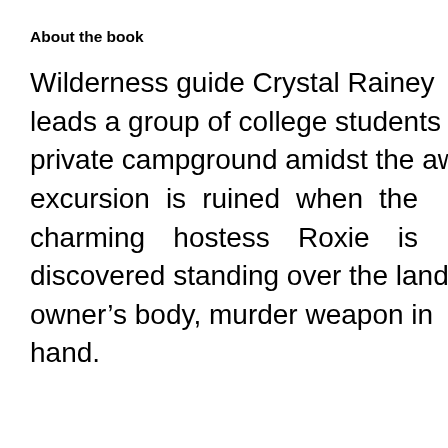About the book
Wilderness guide Crystal Rainey leads a group of college students to a private campground amidst the awe-inspiring Olympic Rain Forest. The excursion is ruined when the charming hostess Roxie is discovered standing over the land owner’s body, murder weapon in hand.